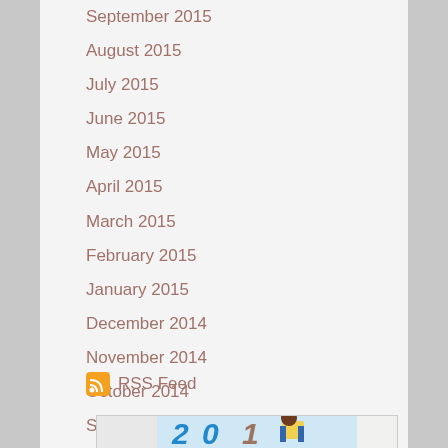September 2015
August 2015
July 2015
June 2015
May 2015
April 2015
March 2015
February 2015
January 2015
December 2014
November 2014
October 2014
September 2014
RSS Feed
[Figure (illustration): Partial view of a decorative image showing stylized numbers/characters in blue, with a cartoon person figure, on a light background]